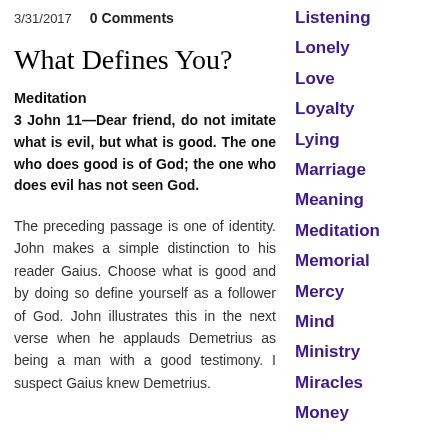3/31/2017   0 Comments
What Defines You?
Meditation
3 John 11—Dear friend, do not imitate what is evil, but what is good. The one who does good is of God; the one who does evil has not seen God.
The preceding passage is one of identity. John makes a simple distinction to his reader Gaius. Choose what is good and by doing so define yourself as a follower of God. John illustrates this in the next verse when he applauds Demetrius as being a man with a good testimony. I suspect Gaius knew Demetrius.
Listening
Lonely
Love
Loyalty
Lying
Marriage
Meaning
Meditation
Memorial
Mercy
Mind
Ministry
Miracles
Money